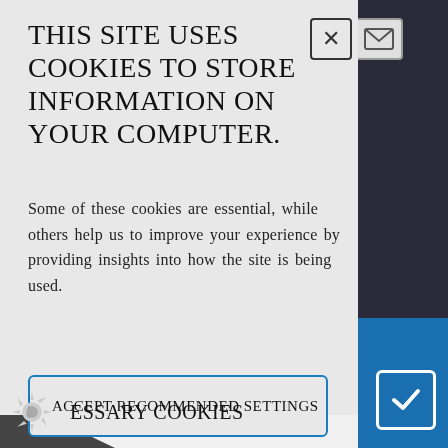This site uses cookies to store information on your computer.
Some of these cookies are essential, while others help us to improve your experience by providing insights into how the site is being used.
Accept Recommended Settings
I Do Not Accept Cookies
Necessary Cookies